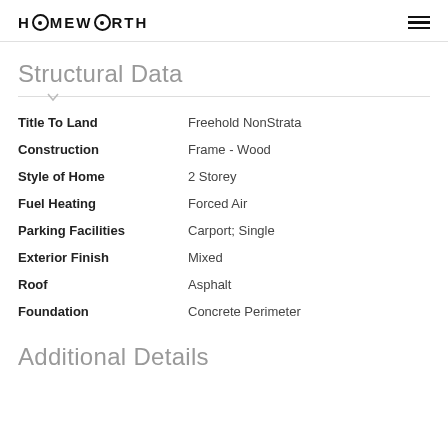HOMEWORTH
Structural Data
| Field | Value |
| --- | --- |
| Title To Land | Freehold NonStrata |
| Construction | Frame - Wood |
| Style of Home | 2 Storey |
| Fuel Heating | Forced Air |
| Parking Facilities | Carport; Single |
| Exterior Finish | Mixed |
| Roof | Asphalt |
| Foundation | Concrete Perimeter |
Additional Details